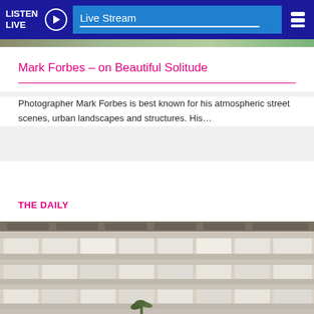LISTEN LIVE  Live Stream
Mark Forbes – on Beautiful Solitude
Photographer Mark Forbes is best known for his atmospheric street scenes, urban landscapes and structures. His…
THE DAILY
[Figure (photo): Exterior facade of a weathered multi-storey brutalist building with balconies and concrete horizontal bands, shot from below looking up, with a palm tree visible at the bottom.]